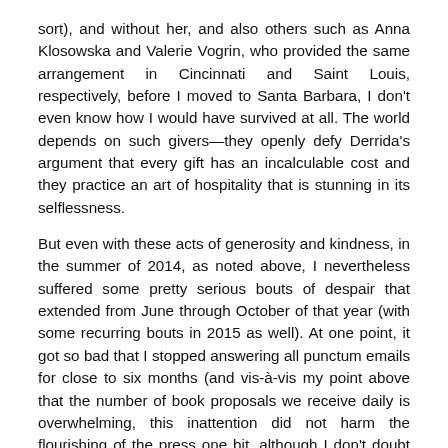sort), and without her, and also others such as Anna Klosowska and Valerie Vogrin, who provided the same arrangement in Cincinnati and Saint Louis, respectively, before I moved to Santa Barbara, I don't even know how I would have survived at all. The world depends on such givers—they openly defy Derrida's argument that every gift has an incalculable cost and they practice an art of hospitality that is stunning in its selflessness.
But even with these acts of generosity and kindness, in the summer of 2014, as noted above, I nevertheless suffered some pretty serious bouts of despair that extended from June through October of that year (with some recurring bouts in 2015 as well). At one point, it got so bad that I stopped answering all punctum emails for close to six months (and vis-à-vis my point above that the number of book proposals we receive daily is overwhelming, this inattention did not harm the flourishing of the press one bit, although I don't doubt that more than several people curse my and punctum's name every time they are raised in conversation, and we may have even lost some direct book sales). Sometimes, in the evening, I would walk along the bluffs facing the